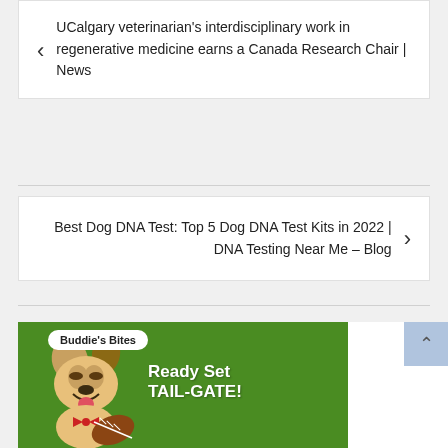← UCalgary veterinarian's interdisciplinary work in regenerative medicine earns a Canada Research Chair | News
Best Dog DNA Test: Top 5 Dog DNA Test Kits in 2022 | DNA Testing Near Me – Blog →
[Figure (illustration): Advertisement for Buddie's Bites dog treats showing a happy dog with a football on a green grass background. Text reads 'Buddie's Bites', 'Ready Set TAIL-GATE!', 'Try our calming'. A product bag is shown at the bottom left.]